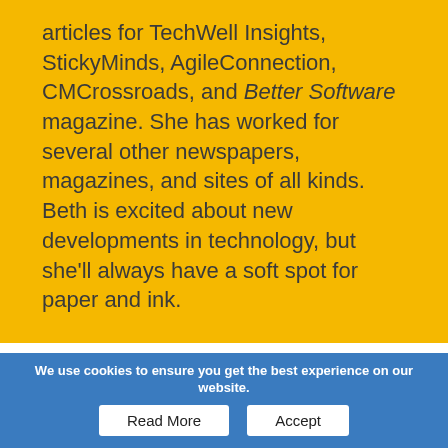articles for TechWell Insights, StickyMinds, AgileConnection, CMCrossroads, and Better Software magazine. She has worked for several other newspapers, magazines, and sites of all kinds. Beth is excited about new developments in technology, but she'll always have a soft spot for paper and ink.
TechWell Insights To Go
Get the latest stories delivered to your inbox every week.
We use cookies to ensure you get the best experience on our website.